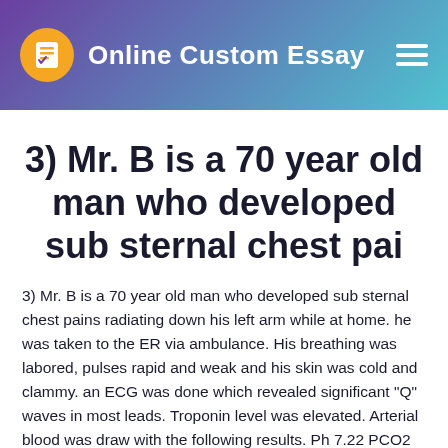Online Custom Essay
3) Mr. B is a 70 year old man who developed sub sternal chest pai
3) Mr. B is a 70 year old man who developed sub sternal chest pains radiating down his left arm while at home. he was taken to the ER via ambulance. His breathing was labored, pulses rapid and weak and his skin was cold and clammy. an ECG was done which revealed significant "Q" waves in most leads. Troponin level was elevated. Arterial blood was draw with the following results. Ph 7.22 PCO2 30 MM HG PO2 70 MM